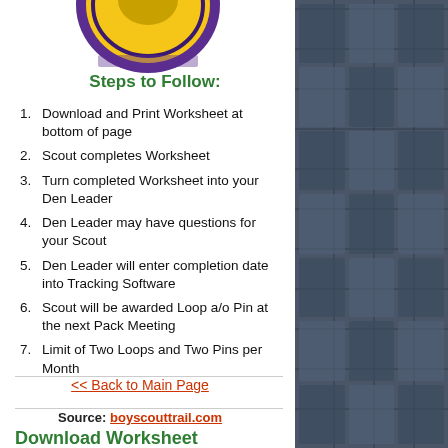[Figure (illustration): Boy Scouts merit badge patch — circular badge with yellow/gold background and purple border, partially visible at top]
Steps to Follow:
Download and Print Worksheet at bottom of page
Scout completes Worksheet
Turn completed Worksheet into your Den Leader
Den Leader may have questions for your Scout
Den Leader will enter completion date into Tracking Software
Scout will be awarded Loop a/o Pin at the next Pack Meeting
Limit of Two Loops and Two Pins per Month
<< Back to Main Page
Source: boyscouttrail.com
Download Worksheet Below